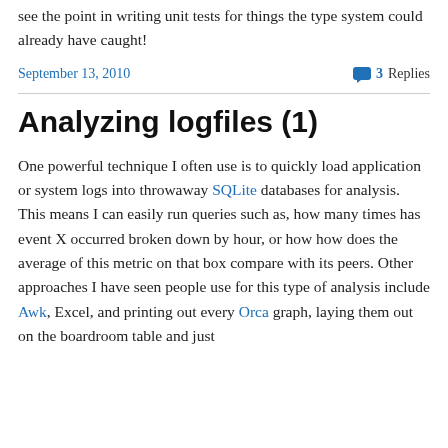see the point in writing unit tests for things the type system could already have caught!
September 13, 2010   3 Replies
Analyzing logfiles (1)
One powerful technique I often use is to quickly load application or system logs into throwaway SQLite databases for analysis. This means I can easily run queries such as, how many times has event X occurred broken down by hour, or how how does the average of this metric on that box compare with its peers. Other approaches I have seen people use for this type of analysis include Awk, Excel, and printing out every Orca graph, laying them out on the boardroom table and just